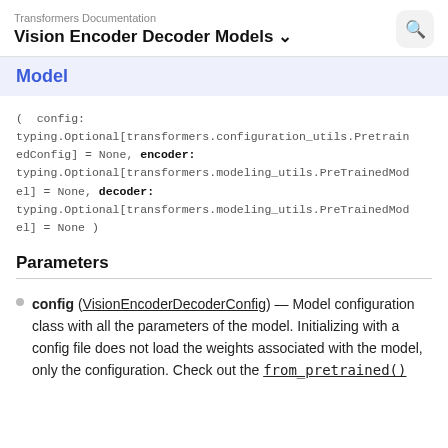Transformers Documentation — Vision Encoder Decoder Models
Model
( config: typing.Optional[transformers.configuration_utils.PretrainedConfig] = None, encoder: typing.Optional[transformers.modeling_utils.PreTrainedModel] = None, decoder: typing.Optional[transformers.modeling_utils.PreTrainedModel] = None )
Parameters
config (VisionEncoderDecoderConfig) — Model configuration class with all the parameters of the model. Initializing with a config file does not load the weights associated with the model, only the configuration. Check out the from_pretrained()